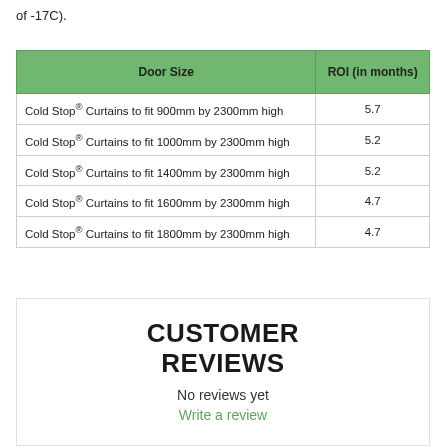of -17C).
| Door Size | ROI (in months) |
| --- | --- |
| Cold Stop® Curtains to fit 900mm by 2300mm high | 5.7 |
| Cold Stop® Curtains to fit 1000mm by 2300mm high | 5.2 |
| Cold Stop® Curtains to fit 1400mm by 2300mm high | 5.2 |
| Cold Stop® Curtains to fit 1600mm by 2300mm high | 4.7 |
| Cold Stop® Curtains to fit 1800mm by 2300mm high | 4.7 |
CUSTOMER REVIEWS
No reviews yet
Write a review